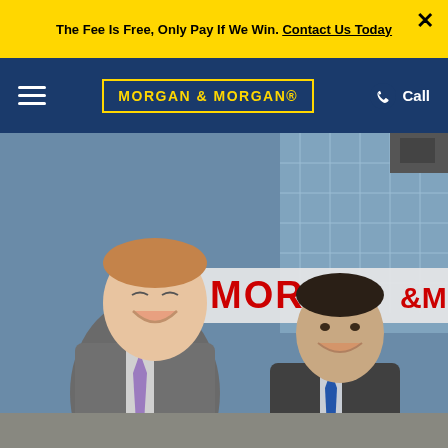The Fee Is Free, Only Pay If We Win. Contact Us Today
[Figure (logo): Morgan & Morgan law firm logo in yellow text on dark blue background with yellow border]
[Figure (photo): Two men in business suits standing and smiling in front of a Morgan & Morgan office building with glass facade and red MORGAN signage visible in background]